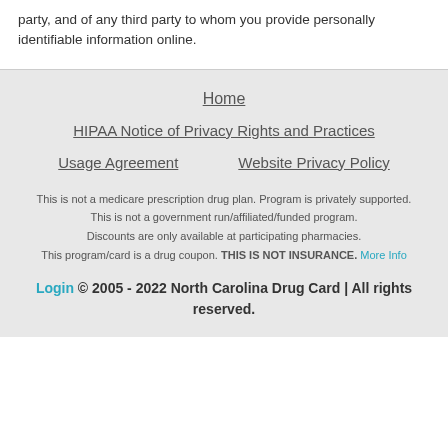party, and of any third party to whom you provide personally identifiable information online.
Home
HIPAA Notice of Privacy Rights and Practices
Usage Agreement
Website Privacy Policy
This is not a medicare prescription drug plan. Program is privately supported. This is not a government run/affiliated/funded program. Discounts are only available at participating pharmacies. This program/card is a drug coupon. THIS IS NOT INSURANCE. More Info
Login © 2005 - 2022 North Carolina Drug Card | All rights reserved.